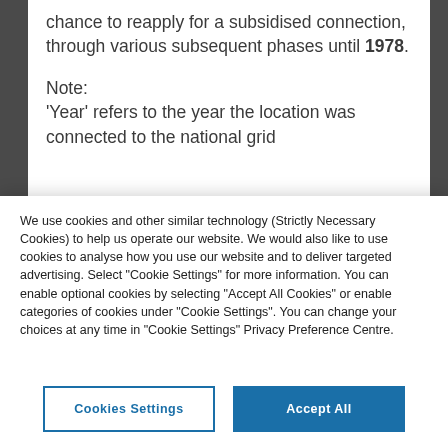chance to reapply for a subsidised connection, through various subsequent phases until 1978.
Note:
'Year' refers to the year the location was connected to the national grid
We use cookies and other similar technology (Strictly Necessary Cookies) to help us operate our website. We would also like to use cookies to analyse how you use our website and to deliver targeted advertising. Select “Cookie Settings” for more information. You can enable optional cookies by selecting “Accept All Cookies” or enable categories of cookies under “Cookie Settings”. You can change your choices at any time in “Cookie Settings” Privacy Preference Centre.
Cookies Settings
Accept All